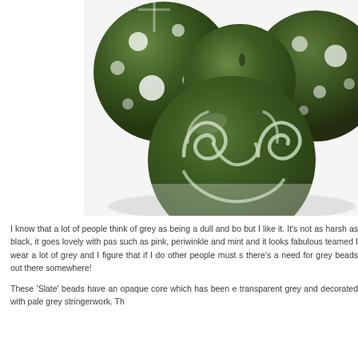[Figure (photo): Close-up photograph of dark olive-green decorative beads/balls with white swirl and dot patterns on a white background. The foreground bead features white spiral/Celtic swirl designs, while background beads show white dot patterns.]
I know that a lot of people think of grey as being a dull and bo but I like it. It's not as harsh as black, it goes lovely with pas such as pink, periwinkle and mint and it looks fabulous teamed I wear a lot of grey and I figure that if I do other people must s there's a need for grey beads out there somewhere!
These 'Slate' beads have an opaque core which has been e transparent grey and decorated with pale grey stringerwork. Th